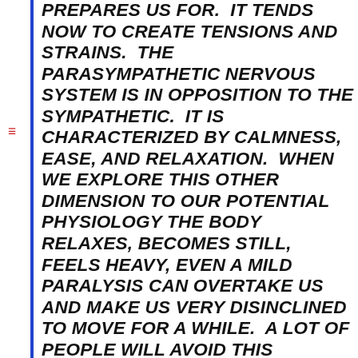PREPARES US FOR.  IT TENDS NOW TO CREATE TENSIONS AND STRAINS.  THE PARASYMPATHETIC NERVOUS SYSTEM IS IN OPPOSITION TO THE SYMPATHETIC.  IT IS CHARACTERIZED BY CALMNESS, EASE, AND RELAXATION.  WHEN WE EXPLORE THIS OTHER DIMENSION TO OUR POTENTIAL PHYSIOLOGY THE BODY RELAXES, BECOMES STILL, FEELS HEAVY, EVEN A MILD PARALYSIS CAN OVERTAKE US AND MAKE US VERY DISINCLINED TO MOVE FOR A WHILE.  A LOT OF PEOPLE WILL AVOID THIS EXPERIENCE BECAUSE IT WILL BE VIEWED AS THREATENING, DRAINING US OF DRIVE AND AMBITION, RENDERING US A MASS OF USELESS  PROTOPLASM.  IN THE MIDST OF A DEEP PERIOD OF RELAXATION THERE CAN BE THE CONVICTION THAT YOU WILL NEVER